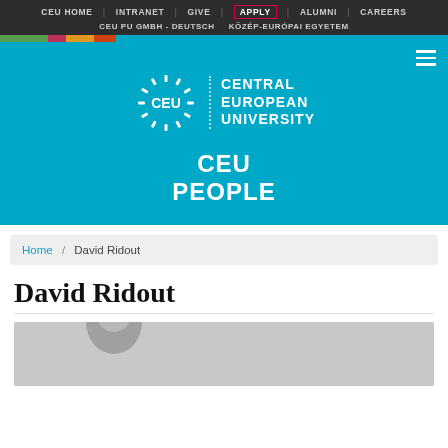CEU HOME | INTRANET | GIVE | APPLY | ALUMNI | CAREERS | CEU PU GMBH - DEUTSCH | KÖZÉP-EURÓPAI EGYETEM
[Figure (logo): Central European University (CEU) logo with circular star emblem and text 'CEU | CENTRAL EUROPEAN UNIVERSITY' on teal background, above text 'CEU PEOPLE']
Home / David Ridout
David Ridout
[Figure (photo): Black and white photo of David Ridout, partially visible at bottom of page]